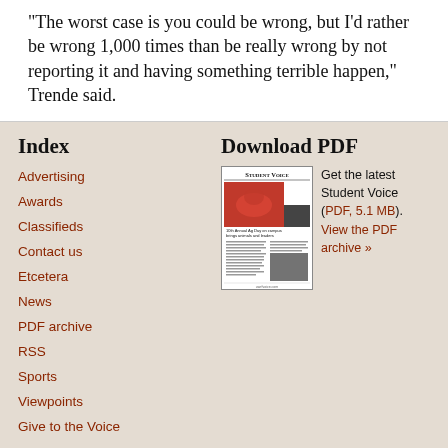"The worst case is you could be wrong, but I'd rather be wrong 1,000 times than be really wrong by not reporting it and having something terrible happen," Trende said.
Index
Advertising
Awards
Classifieds
Contact us
Etcetera
News
PDF archive
RSS
Sports
Viewpoints
Give to the Voice
Download PDF
[Figure (other): Thumbnail of Student Voice newspaper front page showing '10th Annual Ag Day on campus brings animals and leaders']
Get the latest Student Voice (PDF, 5.1 MB). View the PDF archive »
Student Voice
The Student Voice is a student-run news organization at the University of Wisconsin-River Falls. It publishes weekly online and monthly in print during fall and spring semesters. Contact us at info@uwrfvoice.com or Student Voice, University of Wisconsin-River Falls, 410 S. Third St., 304 North Hall, River Falls, WI 54022.
© 2005-2022 Student Voice